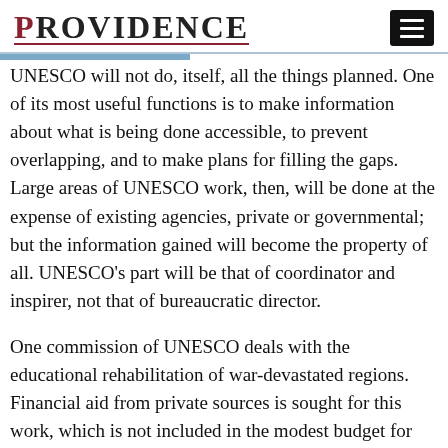PROVIDENCE
UNESCO will not do, itself, all the things planned. One of its most useful functions is to make information about what is being done accessible, to prevent overlapping, and to make plans for filling the gaps. Large areas of UNESCO work, then, will be done at the expense of existing agencies, private or governmental; but the information gained will become the property of all. UNESCO's part will be that of coordinator and inspirer, not that of bureaucratic director.
One commission of UNESCO deals with the educational rehabilitation of war-devastated regions. Financial aid from private sources is sought for this work, which is not included in the modest budget for which UNESCO is